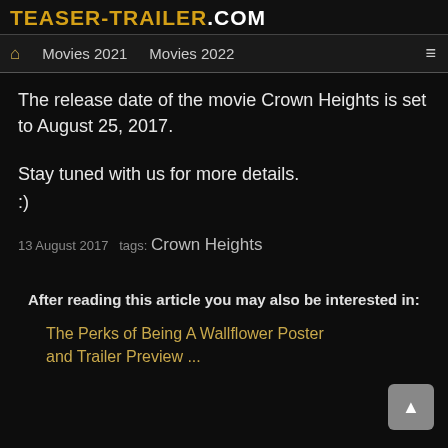TEASER-TRAILER.COM
🏠  Movies 2021    Movies 2022  ≡
The release date of the movie Crown Heights is set to August 25, 2017.

Stay tuned with us for more details.
:)
13 August 2017  tags: Crown Heights
After reading this article you may also be interested in:
The Perks of Being A Wallflower Poster and Trailer Preview ...